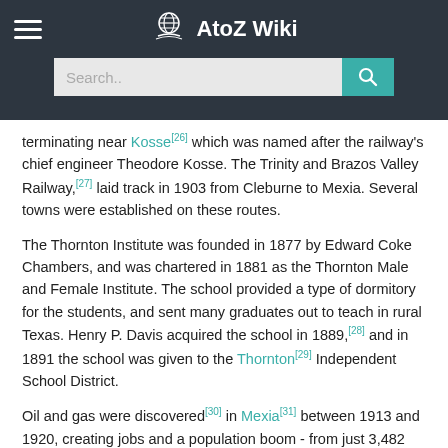AtoZ Wiki
terminating near Kosse[26] which was named after the railway's chief engineer Theodore Kosse. The Trinity and Brazos Valley Railway,[27] laid track in 1903 from Cleburne to Mexia. Several towns were established on these routes.
The Thornton Institute was founded in 1877 by Edward Coke Chambers, and was chartered in 1881 as the Thornton Male and Female Institute. The school provided a type of dormitory for the students, and sent many graduates out to teach in rural Texas. Henry P. Davis acquired the school in 1889,[28] and in 1891 the school was given to the Thornton[29] Independent School District.
Oil and gas were discovered[30] in Mexia[31] between 1913 and 1920, creating jobs and a population boom - from just 3,482 people to 35,000 in 1922. Martial law had to be briefly declared in Mexia. The population began to decline during the Great